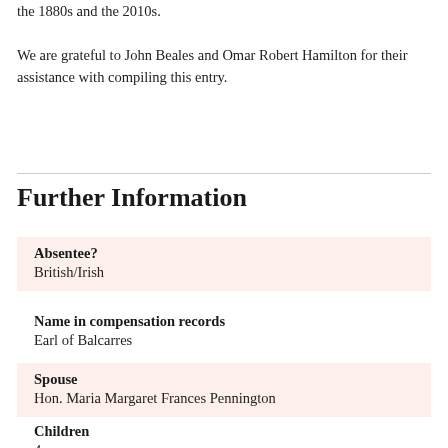the 1880s and the 2010s.
We are grateful to John Beales and Omar Robert Hamilton for their assistance with compiling this entry.
Further Information
| Field | Value |
| --- | --- |
| Absentee? | British/Irish |
| Name in compensation records | Earl of Balcarres |
| Spouse | Hon. Maria Margaret Frances Pennington |
| Children | 4 sons |